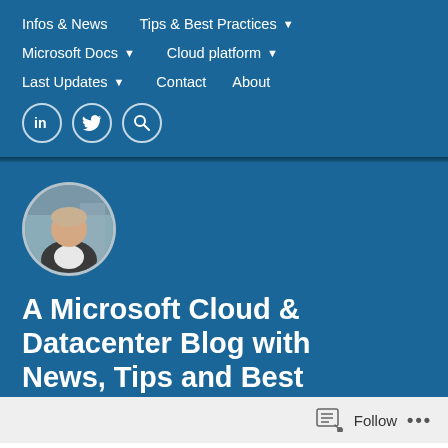Infos & News | Tips & Best Practices ▾ | Microsoft Docs ▾ | Cloud platform ▾ | Last Updates ▾ | Contact | About
[Figure (other): Circular profile photo of a person wearing a dark jacket and white shirt, outdoors with a blurred background]
A Microsoft Cloud & Datacenter Blog with News, Tips and Best Practices
Blog about...Datacenter...Microsoft Solutions f...
Follow  •••